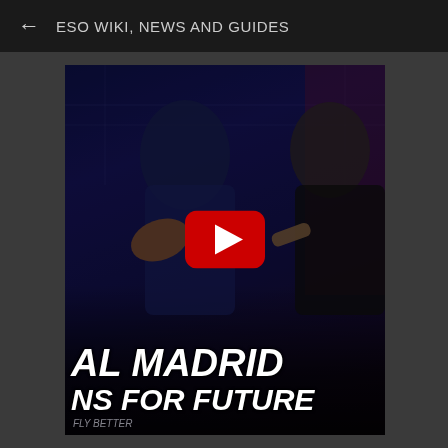← ESO WIKI, NEWS AND GUIDES
[Figure (screenshot): YouTube video thumbnail showing two people - a football player in a dark blue Real Madrid kit on the left making a gesture, and a bearded man on the right pointing. A red YouTube play button is centered. Bold white text at the bottom reads 'AL MADRID' and 'NS FOR FUTURE' with 'FLY BETTER' below. Dark blue/purple background suggesting a stadium.]